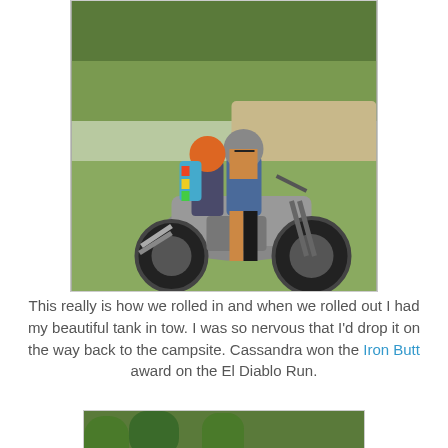[Figure (photo): Two women on a motorcycle in a park setting. The rider in front wears a grey helmet and denim vest; the passenger behind wears an orange helmet and has a colorful backpack. Trees and a path visible in background.]
This really is how we rolled in and when we rolled out I had my beautiful tank in tow. I was so nervous that I'd drop it on the way back to the campsite. Cassandra won the Iron Butt award on the El Diablo Run.
[Figure (photo): People gathering in a park with trees. Several individuals visible, some wearing motorcycle helmets. Green grass and trees in background.]